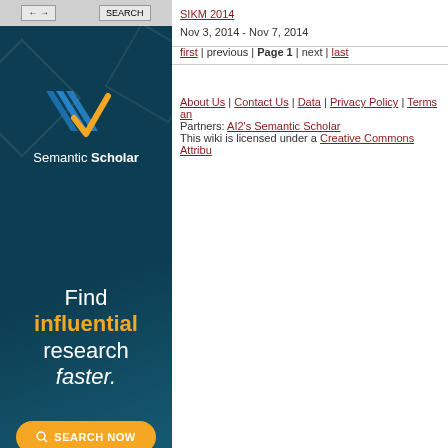SIKM 2014 | Nov 3, 2014 - Nov 7, 2014
first | previous | Page 1 | next | last
About Us | Contact Us | Data | Privacy Policy | Terms an... Partners: AI2's Semantic Scholar This wiki is licensed under a Creative Commons Attribu...
[Figure (illustration): Semantic Scholar advertisement banner with dark teal background, logo with blue and yellow chevron, and text: Find influential research faster. SEARCH NOW button.]